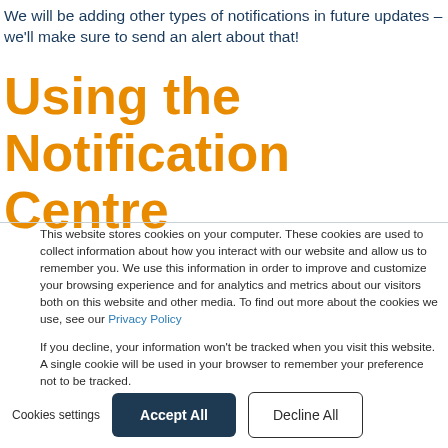We will be adding other types of notifications in future updates – we'll make sure to send an alert about that!
Using the Notification Centre
This website stores cookies on your computer. These cookies are used to collect information about how you interact with our website and allow us to remember you. We use this information in order to improve and customize your browsing experience and for analytics and metrics about our visitors both on this website and other media. To find out more about the cookies we use, see our Privacy Policy
If you decline, your information won't be tracked when you visit this website. A single cookie will be used in your browser to remember your preference not to be tracked.
Cookies settings  Accept All  Decline All